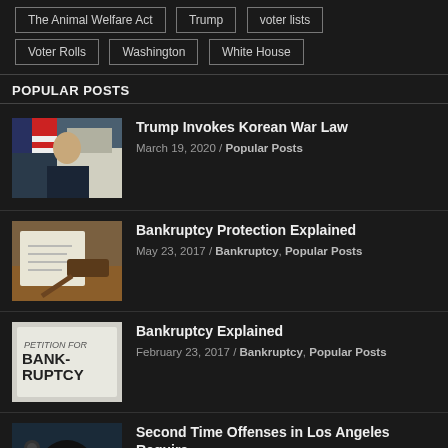The Animal Welfare Act
Trump
voter lists
Voter Rolls
Washington
White House
POPULAR POSTS
[Figure (photo): Photo of Trump in front of American flag and White House]
Trump Invokes Korean War Law
March 19, 2020 / Popular Posts
[Figure (photo): Photo of a gavel and legal document on a desk]
Bankruptcy Protection Explained
May 23, 2017 / Bankruptcy, Popular Posts
[Figure (photo): Photo of a bankruptcy petition document]
Bankruptcy Explained
February 23, 2017 / Bankruptcy, Popular Posts
[Figure (photo): Photo related to Los Angeles offenses article]
Second Time Offenses in Los Angeles Require a DUI?